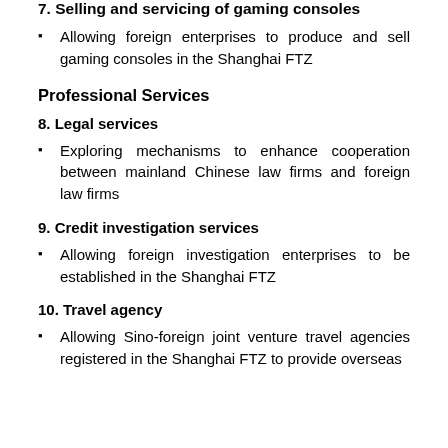7. Selling and servicing of gaming consoles
Allowing foreign enterprises to produce and sell gaming consoles in the Shanghai FTZ
Professional Services
8. Legal services
Exploring mechanisms to enhance cooperation between mainland Chinese law firms and foreign law firms
9. Credit investigation services
Allowing foreign investigation enterprises to be established in the Shanghai FTZ
10. Travel agency
Allowing Sino-foreign joint venture travel agencies registered in the Shanghai FTZ to provide overseas